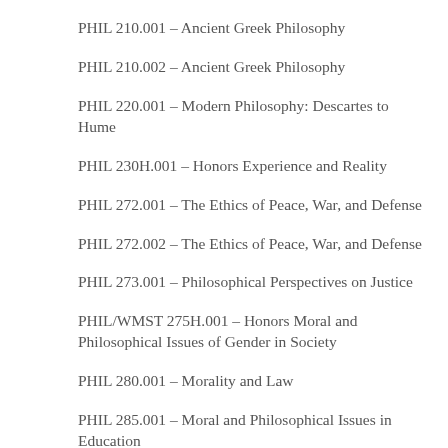PHIL 210.001 – Ancient Greek Philosophy
PHIL 210.002 – Ancient Greek Philosophy
PHIL 220.001 – Modern Philosophy: Descartes to Hume
PHIL 230H.001 – Honors Experience and Reality
PHIL 272.001 – The Ethics of Peace, War, and Defense
PHIL 272.002 – The Ethics of Peace, War, and Defense
PHIL 273.001 – Philosophical Perspectives on Justice
PHIL/WMST 275H.001 – Honors Moral and Philosophical Issues of Gender in Society
PHIL 280.001 – Morality and Law
PHIL 285.001 – Moral and Philosophical Issues in Education